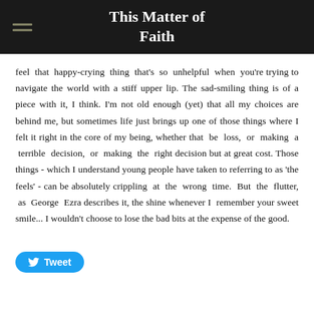This Matter of Faith
feel that happy-crying thing that's so unhelpful when you're trying to navigate the world with a stiff upper lip. The sad-smiling thing is of a piece with it, I think. I'm not old enough (yet) that all my choices are behind me, but sometimes life just brings up one of those things where I felt it right in the core of my being, whether that be loss, or making a terrible decision, or making the right decision but at great cost. Those things - which I understand young people have taken to referring to as 'the feels' - can be absolutely crippling at the wrong time. But the flutter, as George Ezra describes it, the shine whenever I remember your sweet smile... I wouldn't choose to lose the bad bits at the expense of the good.
[Figure (other): Tweet button with Twitter bird icon]